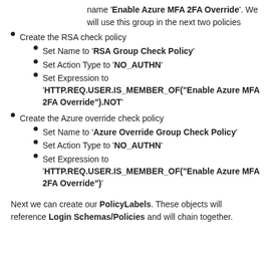name 'Enable Azure MFA 2FA Override'. We will use this group in the next two policies
Create the RSA check policy
Set Name to 'RSA Group Check Policy'
Set Action Type to 'NO_AUTHN'
Set Expression to 'HTTP.REQ.USER.IS_MEMBER_OF("Enable Azure MFA 2FA Override").NOT'
Create the Azure override check policy
Set Name to 'Azure Override Group Check Policy'
Set Action Type to 'NO_AUTHN'
Set Expression to 'HTTP.REQ.USER.IS_MEMBER_OF("Enable Azure MFA 2FA Override")'
Next we can create our PolicyLabels. These objects will reference Login Schemas/Policies and will chain together.